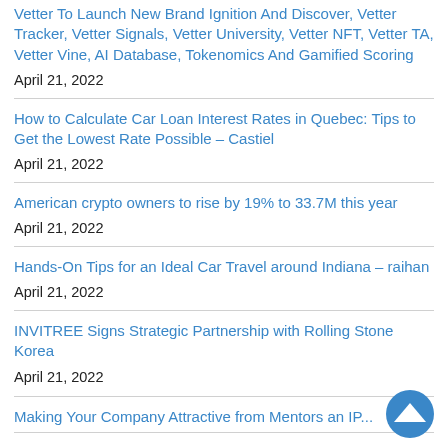Vetter To Launch New Brand Ignition And Discover, Vetter Tracker, Vetter Signals, Vetter University, Vetter NFT, Vetter TA, Vetter Vine, AI Database, Tokenomics And Gamified Scoring
April 21, 2022
How to Calculate Car Loan Interest Rates in Quebec: Tips to Get the Lowest Rate Possible – Castiel
April 21, 2022
American crypto owners to rise by 19% to 33.7M this year
April 21, 2022
Hands-On Tips for an Ideal Car Travel around Indiana – raihan
April 21, 2022
INVITREE Signs Strategic Partnership with Rolling Stone Korea
April 21, 2022
Making Your Company Attractive from Mentors an IP...